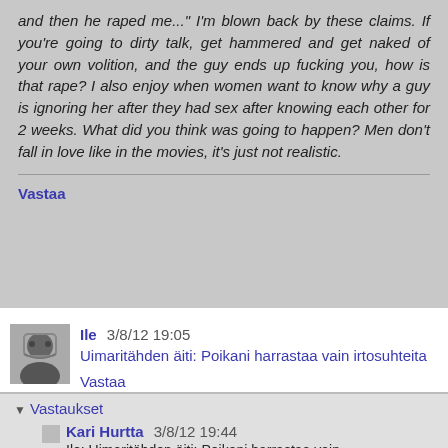and then he raped me..." I'm blown back by these claims. If you're going to dirty talk, get hammered and get naked of your own volition, and the guy ends up fucking you, how is that rape? I also enjoy when women want to know why a guy is ignoring her after they had sex after knowing each other for 2 weeks. What did you think was going to happen? Men don't fall in love like in the movies, it's just not realistic.
Vastaa
Ile  3/8/12 19:05
Uimaritähden äiti: Poikani harrastaa vain irtosuhteita
Vastaa
Vastaukset
Kari Hurtta  3/8/12 19:44
Ile: Uimaritähden äiti: Poikani harrastaa vain